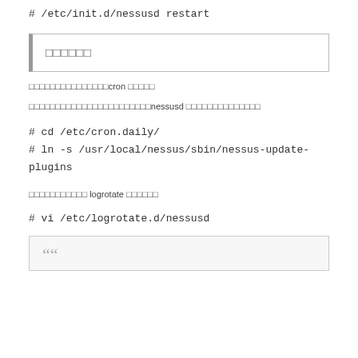# /etc/init.d/nessusd restart
□□□□□□
□□□□□□□□□□□□□□□cron □□□□□
□□□□□□□□□□□□□□□□□□□□□□□nessusd □□□□□□□□□□□□□□
# cd /etc/cron.daily/
# ln -s /usr/local/nessus/sbin/nessus-update-plugins
□□□□□□□□□□□ logrotate □□□□□□
# vi /etc/logrotate.d/nessusd
""